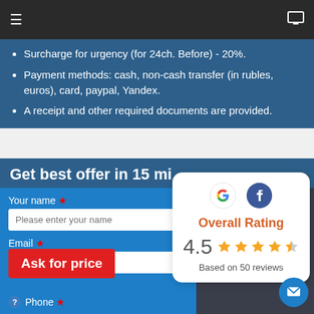Navigation bar with menu and monitor icons
Surcharge for urgency (for 24ch. Before) - 20%.
Payment methods: cash, non-cash transfer (in rubles, euros), card, paypal, Yandex.
A receipt and other required documents are provided.
Get best offer in 15 mi
Your name *
Please enter your name
Email *
Your e-mail
Ask for price
Phone *
[Figure (infographic): Overall rating widget showing Google and Facebook logos, 'Overall Rating' in orange text, score 4.5 with star icons, 'Based on 50 reviews' text]